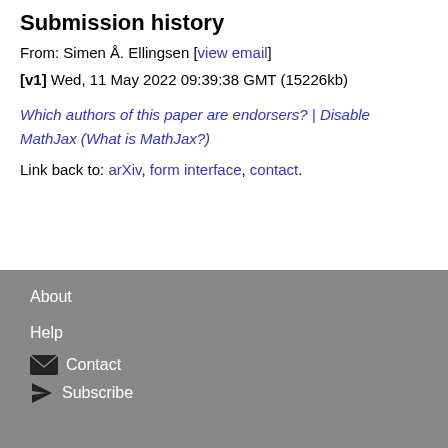Submission history
From: Simen Å. Ellingsen [view email]
[v1] Wed, 11 May 2022 09:39:38 GMT (15226kb)
Which authors of this paper are endorsers? | Disable MathJax (What is MathJax?)
Link back to: arXiv, form interface, contact.
About
Help
Contact
Subscribe